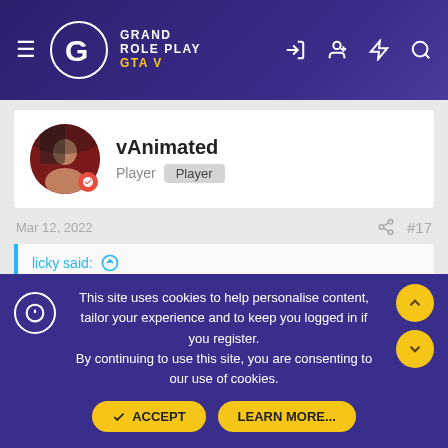GRAND ROLE PLAY GTA V
vAnimated
Player  Player
Mar 12, 2022   #17
licky said: ↑
how?
LMFAOOOO
This site uses cookies to help personalise content, tailor your experience and to keep you logged in if you register. By continuing to use this site, you are consenting to our use of cookies.